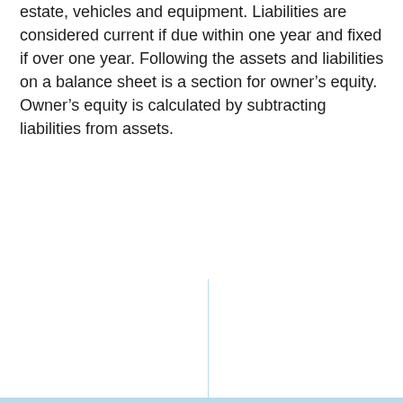estate, vehicles and equipment. Liabilities are considered current if due within one year and fixed if over one year. Following the assets and liabilities on a balance sheet is a section for owner's equity. Owner's equity is calculated by subtracting liabilities from assets.